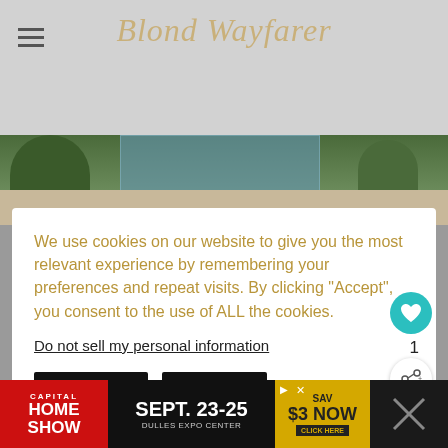Blond Wayfarer
[Figure (photo): Photo of trees, glass building facade, and stone wall]
We use cookies on our website to give you the most relevant experience by remembering your preferences and repeat visits. By clicking "Accept", you consent to the use of ALL the cookies.
Do not sell my personal information
Settings   Accept
[Figure (infographic): What's Next widget: 9 Best Things to Do in...]
[Figure (infographic): Advertisement banner: Capital Home Show, Sept. 23-25, Dulles Expo Center, Save $3 Now]